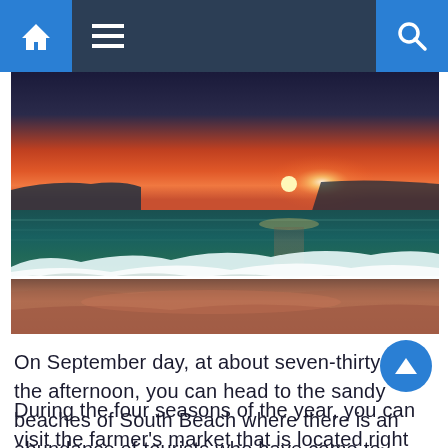Navigation bar with home, menu, and search icons
[Figure (photo): Beach sunset photo showing ocean waves with a vivid orange and pink sky at the horizon, wet sandy beach in the foreground, taken at South Beach on a September evening around seven-thirty]
On September day, at about seven-thirty in the afternoon, you can head to the sandy beaches of South Beach where there is an abundance of tourists who have come to enjoy the beautiful weather that has made it feel like summer all year round.
During the four seasons of the year, you can visit the farmer's market that is located right on the beach during